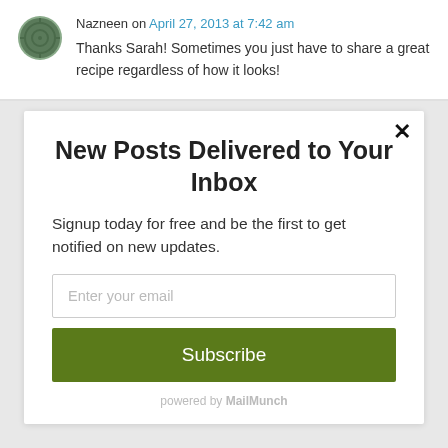Nazneen on April 27, 2013 at 7:42 am
Thanks Sarah! Sometimes you just have to share a great recipe regardless of how it looks!
New Posts Delivered to Your Inbox
Signup today for free and be the first to get notified on new updates.
Enter your email
Subscribe
powered by MailMunch